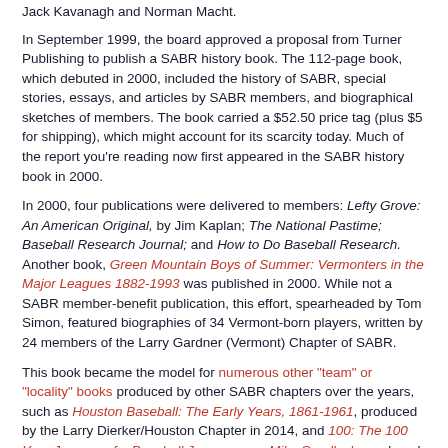Jack Kavanagh and Norman Macht.
In September 1999, the board approved a proposal from Turner Publishing to publish a SABR history book. The 112-page book, which debuted in 2000, included the history of SABR, special stories, essays, and articles by SABR members, and biographical sketches of members. The book carried a $52.50 price tag (plus $5 for shipping), which might account for its scarcity today. Much of the report you're reading now first appeared in the SABR history book in 2000.
In 2000, four publications were delivered to members: Lefty Grove: An American Original, by Jim Kaplan; The National Pastime; Baseball Research Journal; and How to Do Baseball Research. Another book, Green Mountain Boys of Summer: Vermonters in the Major Leagues 1882-1993 was published in 2000. While not a SABR member-benefit publication, this effort, spearheaded by Tom Simon, featured biographies of 34 Vermont-born players, written by 24 members of the Larry Gardner (Vermont) Chapter of SABR.
This book became the model for numerous other "team" or "locality" books produced by other SABR chapters over the years, such as Houston Baseball: The Early Years, 1861-1961, produced by the Larry Dierker/Houston Chapter in 2014, and 100: The 100 Year Journey of a Baseball Journeyman, Mike Sandlock, produced by the Connecticut Smoky Joe Wood Chapter in 2016.
In the 21st century, the SABR Digital Library program began offering free e-books and discounted paperback editions of original books. Since 2001, members have received the following...